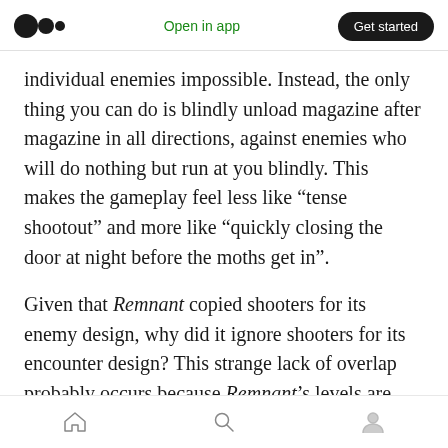Open in app  Get started
individual enemies impossible. Instead, the only thing you can do is blindly unload magazine after magazine in all directions, against enemies who will do nothing but run at you blindly. This makes the gameplay feel less like “tense shootout” and more like “quickly closing the door at night before the moths get in”.
Given that Remnant copied shooters for its enemy design, why did it ignore shooters for its encounter design? This strange lack of overlap probably occurs because Remnant’s levels are procedurally generated, and procedurally
Home  Search  Profile